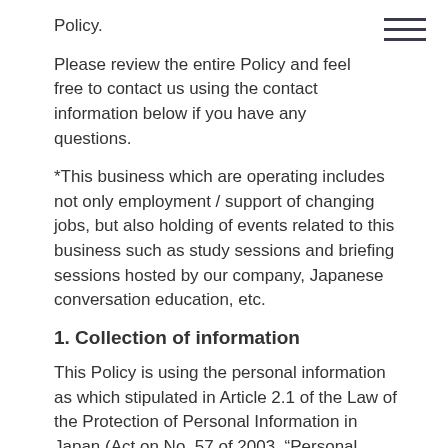Policy.
Please review the entire Policy and feel free to contact us using the contact information below if you have any questions.
*This business which are operating includes not only employment / support of changing jobs, but also holding of events related to this business such as study sessions and briefing sessions hosted by our company, Japanese conversation education, etc.
1. Collection of information
This Policy is using the personal information as which stipulated in Article 2.1 of the Law of the Protection of Personal Information in Japan (Act on No. 57 of 2003, “Personal Information Protection Law”). To achieve the purpose stipulated in “2. Purpose of use of personal information”, we may collect the following kinds of information from applicant or from consignees which